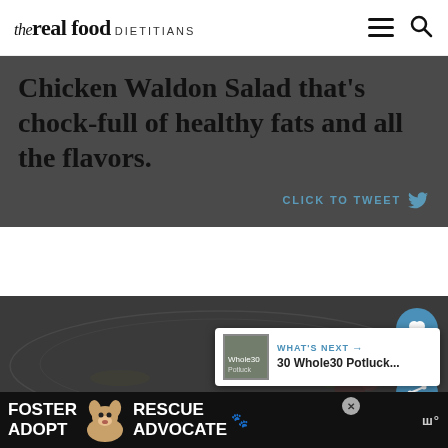the real food DIETITIANS
Chicken Waldon Salad that's chock-full of healthy fats and all the flavors.
CLICK TO TWEET
[Figure (photo): Dark background food image showing a plate with Chicken Waldon Salad, partially visible with greens and toppings]
7.8K
WHAT'S NEXT → 30 Whole30 Potluck...
FOSTER ADOPT  RESCUE ADVOCATE